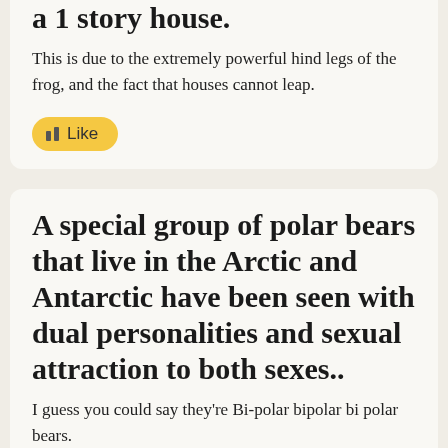a 1 story house.
This is due to the extremely powerful hind legs of the frog, and the fact that houses cannot leap.
A special group of polar bears that live in the Arctic and Antarctic have been seen with dual personalities and sexual attraction to both sexes..
I guess you could say they're Bi-polar bipolar bi polar bears.